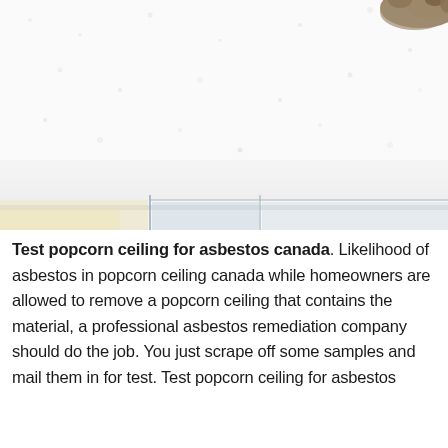[Figure (photo): Close-up photograph of a popcorn (acoustic) ceiling texture, white and bumpy, with a glimpse of a hand/arm in the upper right corner and what appears to be a window frame or wall junction at the bottom.]
Test popcorn ceiling for asbestos canada. Likelihood of asbestos in popcorn ceiling canada while homeowners are allowed to remove a popcorn ceiling that contains the material, a professional asbestos remediation company should do the job. You just scrape off some samples and mail them in for test. Test popcorn ceiling for asbestos